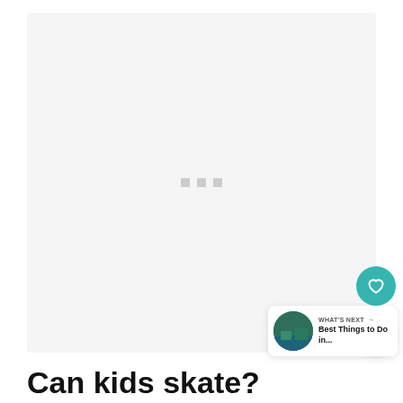[Figure (photo): Large image placeholder with loading dots, showing a light gray background with three small gray squares in the center indicating a loading state]
[Figure (other): Teal circular heart/favorite button on the right side]
[Figure (other): White circular share button with share icon on the right side]
[Figure (other): WHAT'S NEXT card with thumbnail and text 'Best Things to Do in...']
Can kids skate?